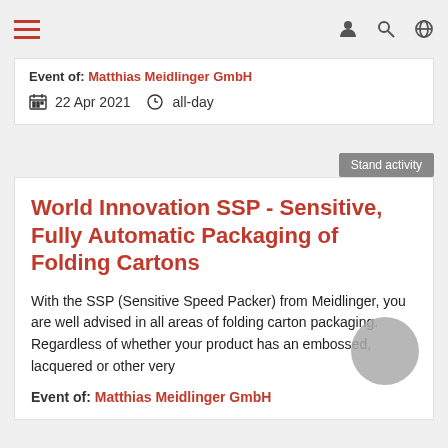Navigation bar with hamburger menu and icons
Event of: Matthias Meidlinger GmbH
22 Apr 2021  all-day
Stand activity
World Innovation SSP - Sensitive, Fully Automatic Packaging of Folding Cartons
With the SSP (Sensitive Speed Packer) from Meidlinger, you are well advised in all areas of folding carton packaging. Regardless of whether your product has an embossed, lacquered or other very
Event of: Matthias Meidlinger GmbH